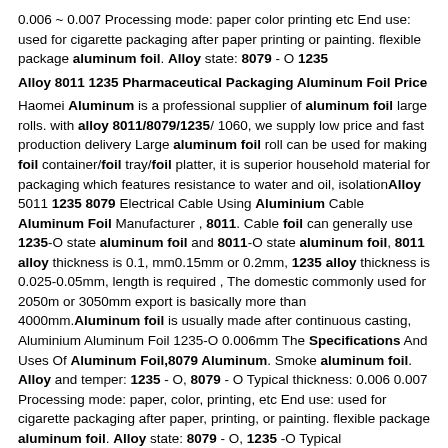0.006 ~ 0.007 Processing mode: paper color printing etc End use: used for cigarette packaging after paper printing or painting. flexible package aluminum foil. Alloy state: 8079 - O 1235
Alloy 8011 1235 Pharmaceutical Packaging Aluminum Foil Price
Haomei Aluminum is a professional supplier of aluminum foil large rolls. with alloy 8011/8079/1235/ 1060, we supply low price and fast production delivery Large aluminum foil roll can be used for making foil container/foil tray/foil platter, it is superior household material for packaging which features resistance to water and oil, isolationAlloy 5011 1235 8079 Electrical Cable Using Aluminium Cable Aluminum Foil Manufacturer , 8011. Cable foil can generally use 1235-O state aluminum foil and 8011-O state aluminum foil, 8011 alloy thickness is 0.1, mm0.15mm or 0.2mm, 1235 alloy thickness is 0.025-0.05mm, length is required , The domestic commonly used for 2050m or 3050mm export is basically more than 4000mm.Aluminum foil is usually made after continuous casting, Aluminium Aluminum Foil 1235-O 0.006mm The Specifications And Uses Of Aluminum Foil,8079 Aluminum. Smoke aluminum foil. Alloy and temper: 1235 - O, 8079 - O Typical thickness: 0.006 0.007 Processing mode: paper, color, printing, etc End use: used for cigarette packaging after paper, printing, or painting. flexible package aluminum foil. Alloy state: 8079 - O, 1235 -O Typical
Aluminium Foil 1235-O Toothpaste Circle Foil
The Specifications And Uses Of Aluminum Foil,8079 Aluminum. capacitor